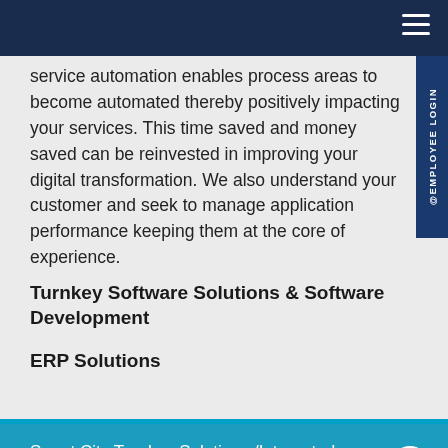service automation enables process areas to become automated thereby positively impacting your services. This time saved and money saved can be reinvested in improving your digital transformation. We also understand your customer and seek to manage application performance keeping them at the core of experience.
Turnkey Software Solutions & Software Development
ERP Solutions
Smart City Turnkey Solutions /Integrated Command and Control Centre (ICCC)
CCTV & Surveillance